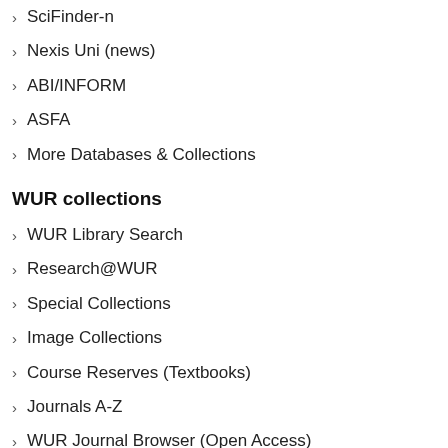SciFinder-n
Nexis Uni (news)
ABI/INFORM
ASFA
More Databases & Collections
WUR collections
WUR Library Search
Research@WUR
Special Collections
Image Collections
Course Reserves (Textbooks)
Journals A-Z
WUR Journal Browser (Open Access)